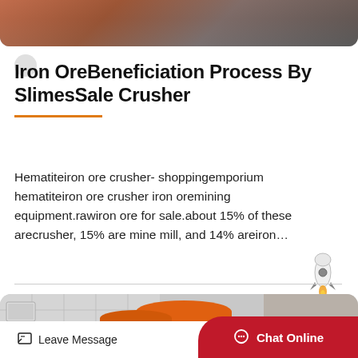[Figure (photo): Top photo of industrial/mining equipment or material surface with brownish-gray tones]
Iron OreBeneficiation Process By SlimesSale Crusher
Hematiteiron ore crusher- shoppingemporium hematiteiron ore crusher iron oremining equipment.rawiron ore for sale.about 15% of these arecrusher, 15% are mine mill, and 14% areiron…
[Figure (photo): Industrial photo showing large orange cylindrical drums/tanks with building and pipes in background]
[Figure (illustration): Rocket icon illustration]
Leave Message
Chat Online